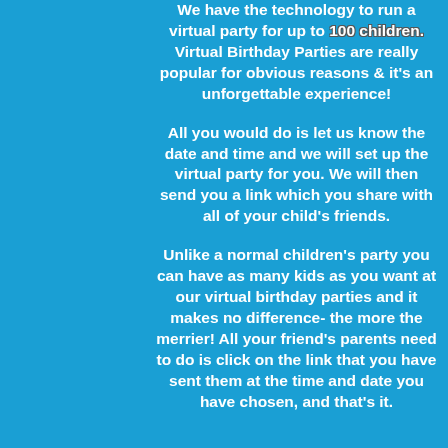We have the technology to run a virtual party for up to 100 children. Virtual Birthday Parties are really popular for obvious reasons & it's an unforgettable experience!
All you would do is let us know the date and time and we will set up the virtual party for you. We will then send you a link which you share with all of your child's friends.
Unlike a normal children's party you can have as many kids as you want at our virtual birthday parties and it makes no difference- the more the merrier! All your friend's parents need to do is click on the link that you have sent them at the time and date you have chosen, and that's it.